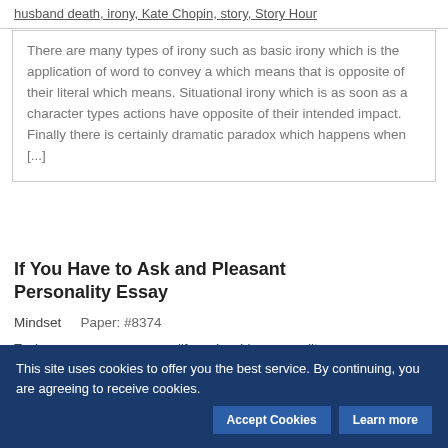husband death, irony, Kate Chopin, story, Story Hour
There are many types of irony such as basic irony which is the application of word to convey a which means that is opposite of their literal which means. Situational irony which is as soon as a character types actions have opposite of their intended impact. Finally there is certainly dramatic paradox which happens when [...]
If You Have to Ask and Pleasant Personality Essay
Mindset    Paper: #8374
Topics: area your, area your life, enjoyable personality, Essay, nice personality, personality, pleasant, pleasant
This site uses cookies to offer you the best service. By continuing, you are agreeing to receive cookies.